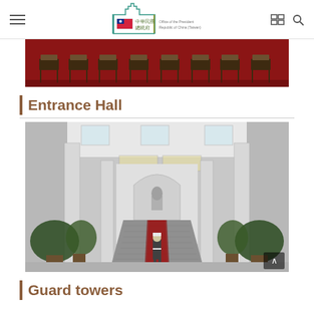Office of the President Republic of China (Taiwan) — 中華民國 總統府
[Figure (photo): Top-cropped photo of chairs arranged on a red carpet, partially visible]
Entrance Hall
[Figure (photo): Black and white photo of the Presidential Office Building entrance hall interior, showing grand staircase with a guard standing at attention, flanked by tall columns, potted plants, and a bust statue at the top of the stairs]
Guard towers